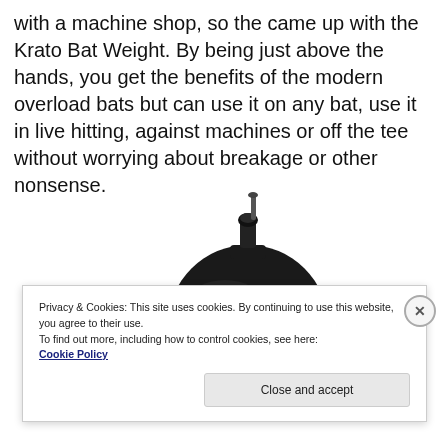with a machine shop, so the came up with the Krato Bat Weight. By being just above the hands, you get the benefits of the modern overload bats but can use it on any bat, use it in live hitting, against machines or off the tee without worrying about breakage or other nonsense.
[Figure (photo): A black circular bat weight clamp/collar with a hole in the center and a screw/bolt on top, shown on white background.]
Privacy & Cookies: This site uses cookies. By continuing to use this website, you agree to their use.
To find out more, including how to control cookies, see here:
Cookie Policy
Close and accept